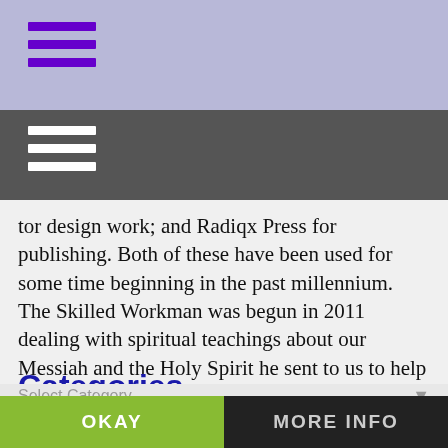[Figure (screenshot): Purple/lavender navigation bar with purple hamburger menu icon (three horizontal lines)]
[Figure (screenshot): Dark gray secondary navigation bar with white hamburger menu icon (three horizontal lines)]
tor design work; and Radiqx Press for publishing. Both of these have been used for some time beginning in the past millennium. The Skilled Workman was begun in 2011 dealing with spiritual teachings about our Messiah and the Holy Spirit he sent to us to help us. If you want to meet Jesus, click here.
Categories
Select Category
This website uses cookies
Subscribe to Blog via Email
OKAY
MORE INFO